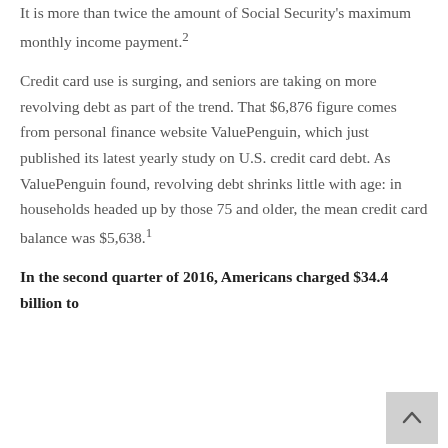It is more than twice the amount of Social Security's maximum monthly income payment.²
Credit card use is surging, and seniors are taking on more revolving debt as part of the trend. That $6,876 figure comes from personal finance website ValuePenguin, which just published its latest yearly study on U.S. credit card debt. As ValuePenguin found, revolving debt shrinks little with age: in households headed up by those 75 and older, the mean credit card balance was $5,638.¹
In the second quarter of 2016, Americans charged $34.4 billion to